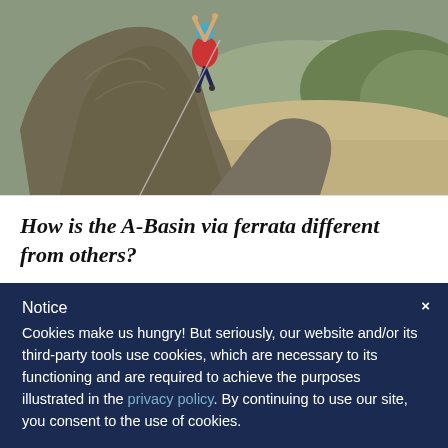[Figure (photo): A rock climber scaling a large boulder on a via ferrata route, wearing a red backpack and helmet, with a mountainous green and brown landscape visible far below.]
How is the A-Basin via ferrata different from others?
Notice
Cookies make us hungry! But seriously, our website and/or its third-party tools use cookies, which are necessary to its functioning and are required to achieve the purposes illustrated in the privacy policy. By continuing to use our site, you consent to the use of cookies.